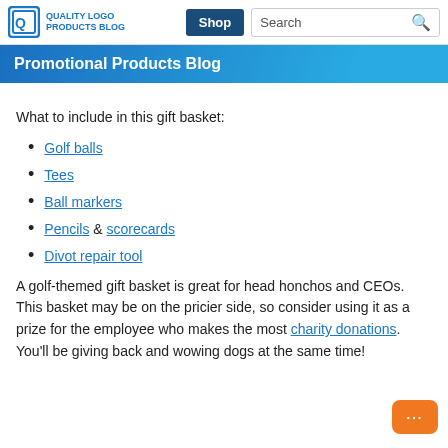QUALITY LOGO PRODUCTS BLOG | Shop | Search
Promotional Products Blog
What to include in this gift basket:
Golf balls
Tees
Ball markers
Pencils & scorecards
Divot repair tool
A golf-themed gift basket is great for head honchos and CEOs. This basket may be on the pricier side, so consider using it as a prize for the employee who makes the most charity donations. You'll be giving back and wowing dogs at the same time!